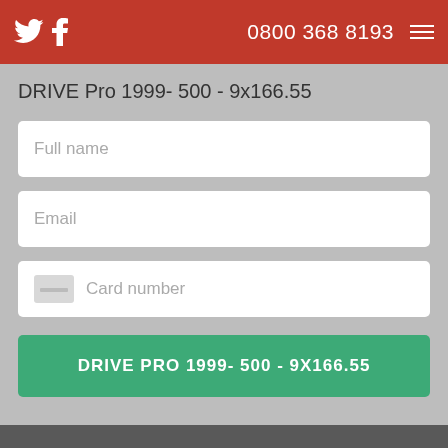Twitter Facebook | 0800 368 8193 | Menu
DRIVE Pro 1999- 500 - 9x166.55
Full name
Email
Card number
DRIVE PRO 1999- 500 - 9X166.55
[Figure (logo): Trustpilot logo with green star and Trustpilot text]